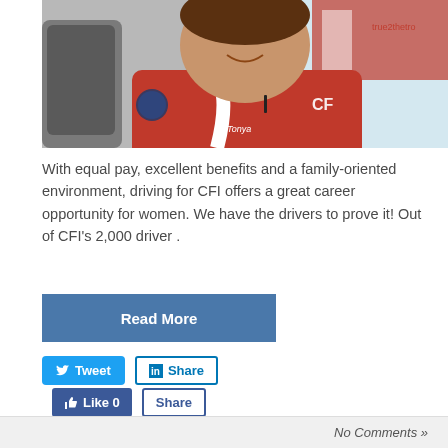[Figure (photo): A smiling woman wearing a red CFI polo shirt sitting in a truck cab. A badge is visible on her left sleeve and the name 'Tonya' is on the shirt. Text 'true2thetr...' is partially visible in the background window.]
With equal pay, excellent benefits and a family-oriented environment, driving for CFI offers a great career opportunity for women. We have the drivers to prove it! Out of CFI's 2,000 driver .
Read More
Tweet
Share
Like 0
Share
No Comments »